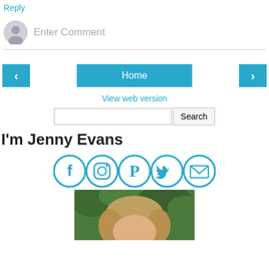Reply
[Figure (other): User avatar circle icon (gray silhouette) next to Enter Comment input field]
Enter Comment
[Figure (other): Navigation bar with left arrow button, Home button, and right arrow button in teal/blue]
View web version
[Figure (other): Search input field with Search button]
I'm Jenny Evans
[Figure (other): Social media icons in teal circles: Facebook, Instagram, Pinterest, Twitter, Email]
[Figure (photo): Photo of Jenny Evans, a woman with light brown/blonde hair outdoors with green foliage background]